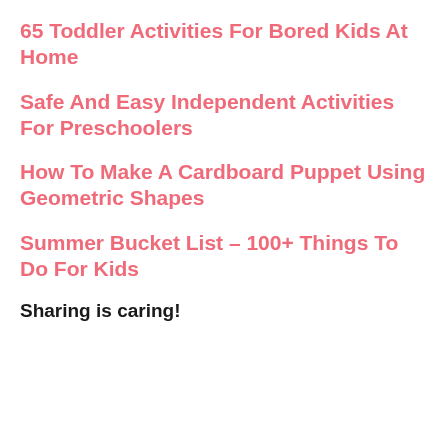65 Toddler Activities For Bored Kids At Home
Safe And Easy Independent Activities For Preschoolers
How To Make A Cardboard Puppet Using Geometric Shapes
Summer Bucket List – 100+ Things To Do For Kids
Sharing is caring!